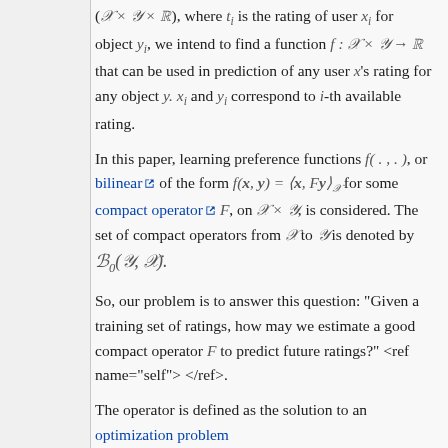(𝒳 × 𝒴 × ℝ), where tᵢ is the rating of user xᵢ for object yᵢ, we intend to find a function f : 𝒳 × 𝒴 → ℝ that can be used in prediction of any user x's rating for any object y. xᵢ and yᵢ correspond to i-th available rating.
In this paper, learning preference functions f(.,.), or bilinear of the form f(x,y) = ⟨x, Fy⟩_𝒳 for some compact operator F, on 𝒳 × 𝒴, is considered. The set of compact operators from 𝒳 to 𝒴 is denoted by ℬ₀(𝒴, 𝒳).
So, our problem is to answer this question: "Given a training set of ratings, how may we estimate a good compact operator F to predict future ratings?" <ref name="self"> </ref>.
The operator is defined as the solution to an optimization problem over...